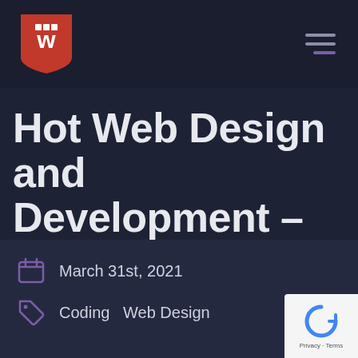Hot Web Design and Development – March 2021 (navigation header with logo and hamburger menu)
Hot Web Design and Development – March 2021
March 31st, 2021
Coding   Web Design